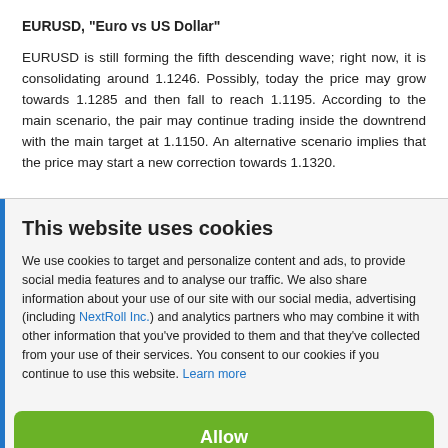EURUSD, "Euro vs US Dollar"
EURUSD is still forming the fifth descending wave; right now, it is consolidating around 1.1246. Possibly, today the price may grow towards 1.1285 and then fall to reach 1.1195. According to the main scenario, the pair may continue trading inside the downtrend with the main target at 1.1150. An alternative scenario implies that the price may start a new correction towards 1.1320.
This website uses cookies
We use cookies to target and personalize content and ads, to provide social media features and to analyse our traffic. We also share information about your use of our site with our social media, advertising (including NextRoll Inc.) and analytics partners who may combine it with other information that you've provided to them and that they've collected from your use of their services. You consent to our cookies if you continue to use this website. Learn more
Allow
Disallow